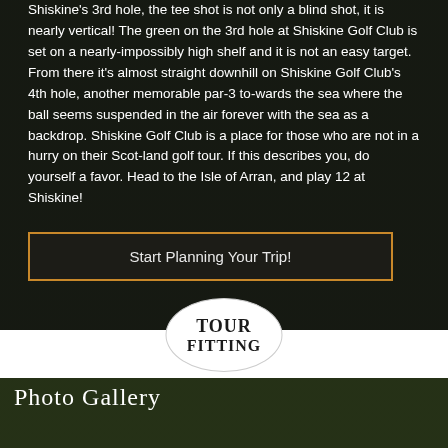Shiskine's 3rd hole, the tee shot is not only a blind shot, it is nearly vertical! The green on the 3rd hole at Shiskine Golf Club is set on a nearly-impossibly high shelf and it is not an easy target. From there it’s almost straight downhill on Shiskine Golf Club’s 4th hole, another memorable par-3 to-wards the sea where the ball seems suspended in the air forever with the sea as a backdrop. Shiskine Golf Club is a place for those who are not in a hurry on their Scot-land golf tour. If this describes you, do yourself a favor. Head to the Isle of Arran, and play 12 at Shiskine!
[Figure (other): Button: Start Planning Your Trip! with orange border on dark background]
[Figure (logo): Tour Fitting oval/ellipse logo in white on dark background]
Photo gallery